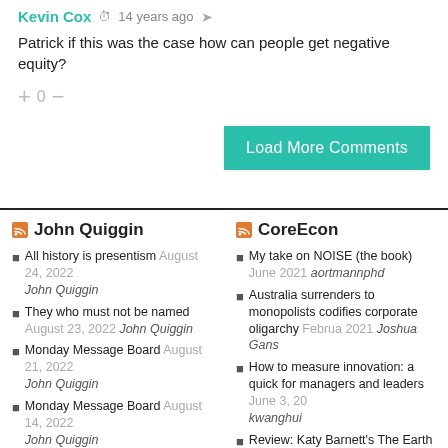Kevin Cox  14 years ago
Patrick if this was the case how can people get negative equity?
+ 0 −
Load More Comments
John Quiggin
All history is presentism August 24, 2022 John Quiggin
They who must not be named August 23, 2022 John Quiggin
Monday Message Board August 21, 2022 John Quiggin
Monday Message Board August 14, 2022 John Quiggin
Sandpit August 14, 2022 John Quiggin
CoreEcon
My take on NOISE (the book) June 2021 aortmannphd
Australia surrenders to monopolists codifies corporate oligarchy February 2021 Joshua Gans
How to measure innovation: a quick for managers and leaders June 3, 20 kwanghui
Review: Katy Barnett's The Earth B September 28, 2019 aortmannphd